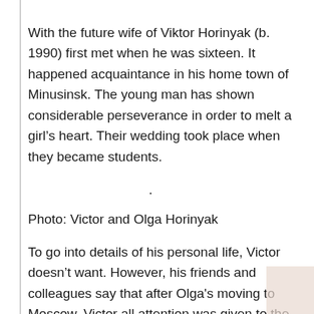With the future wife of Viktor Horinyak (b. 1990) first met when he was sixteen. It happened acquaintance in his home town of Minusinsk. The young man has shown considerable perseverance in order to melt a girl's heart. Their wedding took place when they became students.
.
Photo: Victor and Olga Horinyak
To go into details of his personal life, Victor doesn't want. However, his friends and colleagues say that after Olga's moving to Moscow, Victor all attention was given to the family. Children Viktor Horinyak wanted for a long time. Now growing up the son of Viktor...